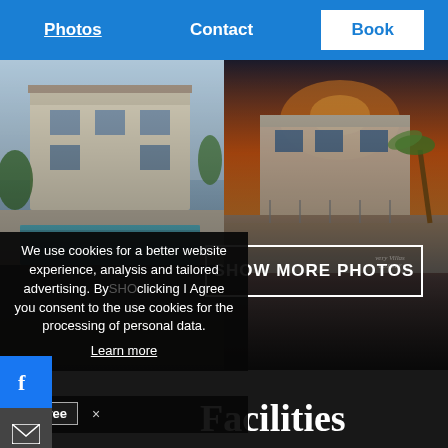Photos | Contact | Book
[Figure (photo): Villa with swimming pool on the left, villa exterior at sunset on the right]
SHOW MORE PHOTOS
We use cookies for a better website experience, analysis and tailored advertising. By clicking I Agree you consent to the use cookies for the processing of personal data.
Learn more
I agree  ×
Facilities